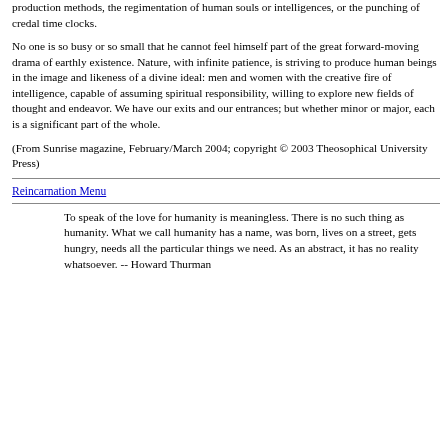production methods, the regimentation of human souls or intelligences, or the punching of credal time clocks.
No one is so busy or so small that he cannot feel himself part of the great forward-moving drama of earthly existence. Nature, with infinite patience, is striving to produce human beings in the image and likeness of a divine ideal: men and women with the creative fire of intelligence, capable of assuming spiritual responsibility, willing to explore new fields of thought and endeavor. We have our exits and our entrances; but whether minor or major, each is a significant part of the whole.
(From Sunrise magazine, February/March 2004; copyright © 2003 Theosophical University Press)
Reincarnation Menu
To speak of the love for humanity is meaningless. There is no such thing as humanity. What we call humanity has a name, was born, lives on a street, gets hungry, needs all the particular things we need. As an abstract, it has no reality whatsoever. -- Howard Thurman